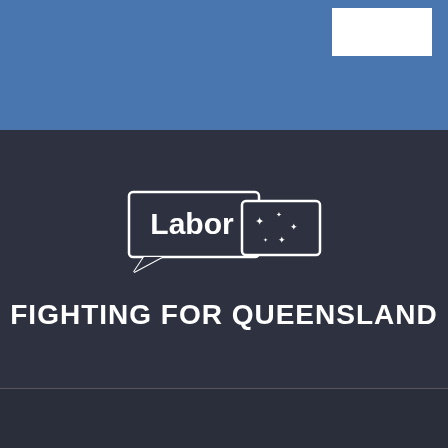[Figure (logo): Blue header banner with a white rectangle in the top-right corner]
[Figure (logo): Australian Labor Party logo: two overlapping speech bubbles, left bubble contains 'Labor' text, right bubble contains Southern Cross stars, on dark background]
FIGHTING FOR QUEENSLAND